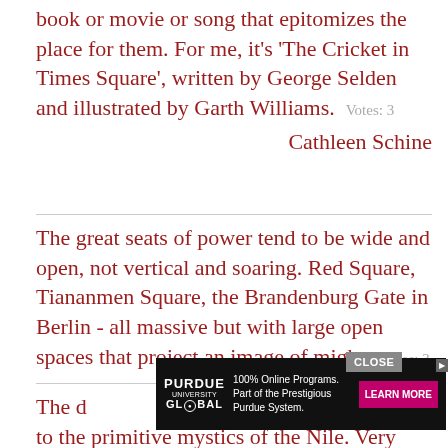book or movie or song that epitomizes the place for them. For me, it's 'The Cricket in Times Square', written by George Selden and illustrated by Garth Williams. Votes: 3
Cathleen Schine
The great seats of power tend to be wide and open, not vertical and soaring. Red Square, Tiananmen Square, the Brandenburg Gate in Berlin - all massive but with large open spaces that project an image of might. Votes: 3
Ross
[Figure (other): Advertisement overlay for Purdue University Global: '100% Online Programs. Part of the Prestigious Purdue System.' with LEARN MORE button and CLOSE button]
The d[advertisement obscures text]event to the primitive mystics of the Nile. Very early it became an emblem of truth, justice, and